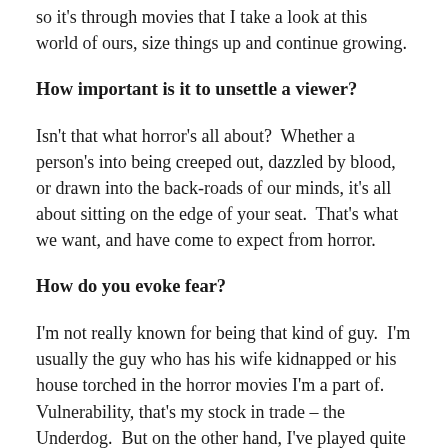so it's through movies that I take a look at this world of ours, size things up and continue growing.
How important is it to unsettle a viewer?
Isn't that what horror's all about?  Whether a person's into being creeped out, dazzled by blood, or drawn into the back-roads of our minds, it's all about sitting on the edge of your seat.  That's what we want, and have come to expect from horror.
How do you evoke fear?
I'm not really known for being that kind of guy.  I'm usually the guy who has his wife kidnapped or his house torched in the horror movies I'm a part of. Vulnerability, that's my stock in trade – the Underdog.  But on the other hand, I've played quite a number of